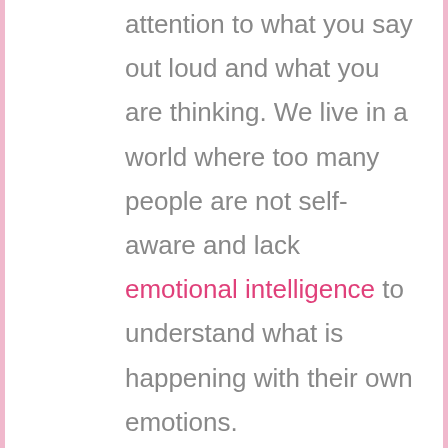attention to what you say out loud and what you are thinking. We live in a world where too many people are not self-aware and lack emotional intelligence to understand what is happening with their own emotions.
7. Make a list of your strengths or good